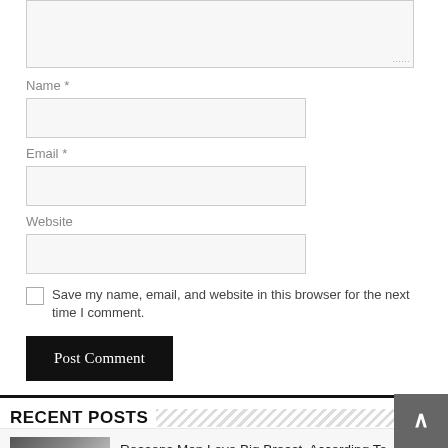Name *
Email *
Website
Save my name, email, and website in this browser for the next time I comment.
Post Comment
RECENT POSTS
Reasons Men Love Big Breast, According To Scientific Theories